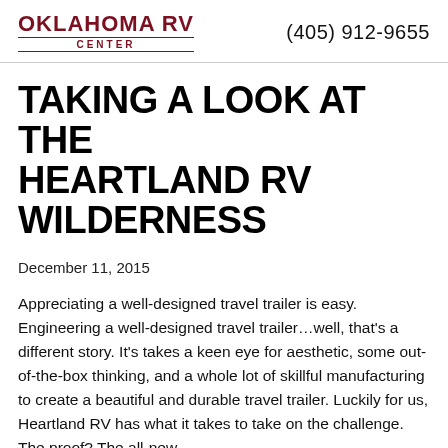OKLAHOMA RV CENTER  (405) 912-9655
TAKING A LOOK AT THE HEARTLAND RV WILDERNESS
December 11, 2015
Appreciating a well-designed travel trailer is easy. Engineering a well-designed travel trailer...well, that’s a different story. It’s takes a keen eye for aesthetic, some out-of-the-box thinking, and a whole lot of skillful manufacturing to create a beautiful and durable travel trailer. Luckily for us, Heartland RV has what it takes to take on the challenge. The proof? The all-new